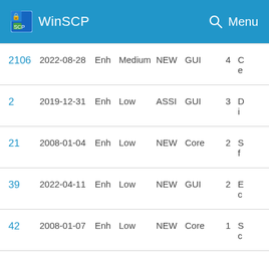WinSCP  Menu
| ID | Date | Type | Priority | Status | Category | Votes | Description |
| --- | --- | --- | --- | --- | --- | --- | --- |
| 2106 | 2022-08-28 | Enh | Medium | NEW | GUI | 4 | C... e... |
| 2 | 2019-12-31 | Enh | Low | ASSI | GUI | 3 | D... i... |
| 21 | 2008-01-04 | Enh | Low | NEW | Core | 2 | S... f... |
| 39 | 2022-04-11 | Enh | Low | NEW | GUI | 2 | E... c... |
| 42 | 2008-01-07 | Enh | Low | NEW | Core | 1 | S... c... |